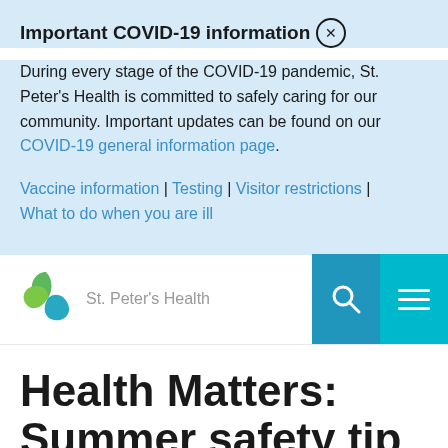Important COVID-19 information
During every stage of the COVID-19 pandemic, St. Peter's Health is committed to safely caring for our community. Important updates can be found on our COVID-19 general information page.
Vaccine information | Testing | Visitor restrictions | What to do when you are ill
[Figure (logo): St. Peter's Health logo with green and blue leaf/shield icon and gray text]
Health Matters: Summer safety tip